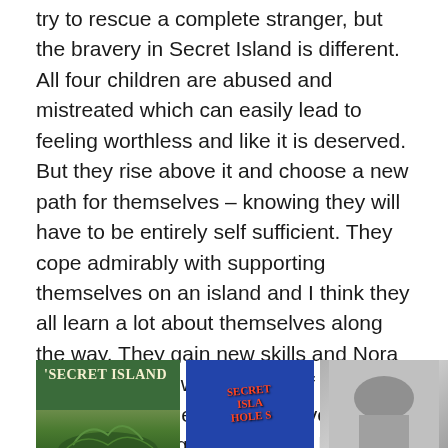try to rescue a complete stranger, but the bravery in Secret Island is different. All four children are abused and mistreated which can easily lead to feeling worthless and like it is deserved. But they rise above it and choose a new path for themselves – knowing they will have to be entirely self sufficient. They cope admirably with supporting themselves on an island and I think they all learn a lot about themselves along the way. They gain new skills and Nora in particular grows up a lot. Of course it's ironic that they needn't have survived as long as they did – but they didn't know that. To them the threat of being found and returned to a miserable life was totally real. They not only make the best of an often cold and lonely existence on the island but they actually flourish.
[Figure (photo): Three book cover images side by side: left is a green cover reading 'SECRET ISLAND', middle is a blue cover with red text, right is a gray/neutral cover.]